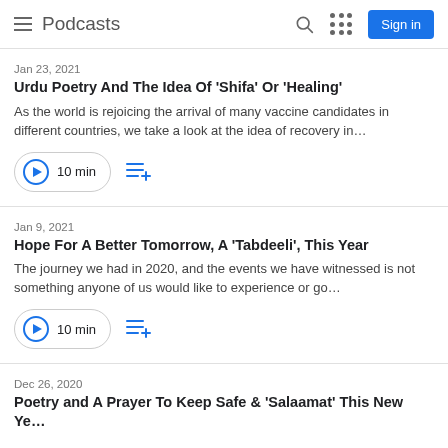Podcasts
Jan 23, 2021
Urdu Poetry And The Idea Of 'Shifa' Or 'Healing'
As the world is rejoicing the arrival of many vaccine candidates in different countries, we take a look at the idea of recovery in…
10 min
Jan 9, 2021
Hope For A Better Tomorrow, A 'Tabdeeli', This Year
The journey we had in 2020, and the events we have witnessed is not something anyone of us would like to experience or go…
10 min
Dec 26, 2020
Poetry and A Prayer To Keep Safe & 'Salaamat' This New Ye…